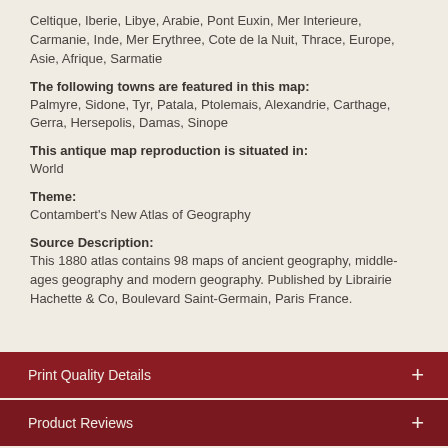Celtique, Iberie, Libye, Arabie, Pont Euxin, Mer Interieure, Carmanie, Inde, Mer Erythree, Cote de la Nuit, Thrace, Europe, Asie, Afrique, Sarmatie
The following towns are featured in this map:
Palmyre, Sidone, Tyr, Patala, Ptolemais, Alexandrie, Carthage, Gerra, Hersepolis, Damas, Sinope
This antique map reproduction is situated in:
World
Theme:
Contambert's New Atlas of Geography
Source Description:
This 1880 atlas contains 98 maps of ancient geography, middle-ages geography and modern geography. Published by Librairie Hachette & Co, Boulevard Saint-Germain, Paris France.
Print Quality Details
Product Reviews